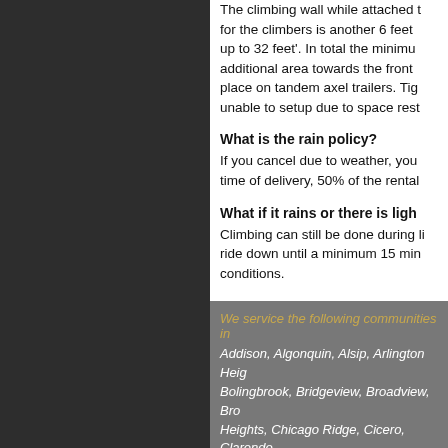The climbing wall while attached to... for the climbers is another 6 feet... up to 32 feet'. In total the minimum... additional area towards the front... place on tandem axel trailers. Tigh... unable to setup due to space restr...
What is the rain policy?
If you cancel due to weather, you... time of delivery, 50% of the rental...
What if it rains or there is ligh...
Climbing can still be done during li... ride down until a minimum 15 min... conditions.
We service the following communities in...
Addison, Algonquin, Alsip, Arlington Heig... Bolingbrook, Bridgeview, Broadview, Bro... Heights, Chicago Ridge, Cicero, Clarendo... Village, Elmhurst, Elmwood Park, Evansto... Hanover Park, Hazel Crest, Hickory Hills,... Kenosha, Kenilworth, Kildeer, LaGrange, L... Lisle, Lockport, Lombard, Long Grove, Lyo...